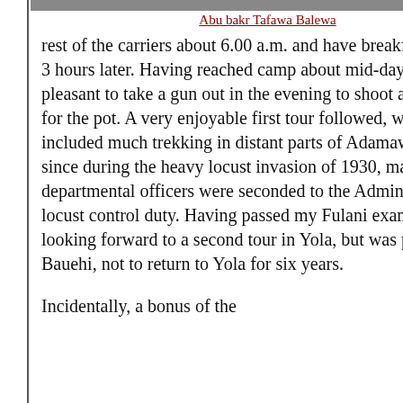[Figure (photo): Partial image visible at top of page, cropped]
Abu bakr Tafawa Balewa
rest of the carriers about 6.00 a.m. and have breakfast about 2-3 hours later. Having reached camp about mid-day, it was pleasant to take a gun out in the evening to shoot a guinea fowl for the pot. A very enjoyable first tour followed, which included much trekking in distant parts of Adamawa Province, since during the heavy locust invasion of 1930, many departmental officers were seconded to the Administration for locust control duty. Having passed my Fulani exams, I was looking forward to a second tour in Yola, but was posted to Bauehi, not to return to Yola for six years.
Incidentally, a bonus of the